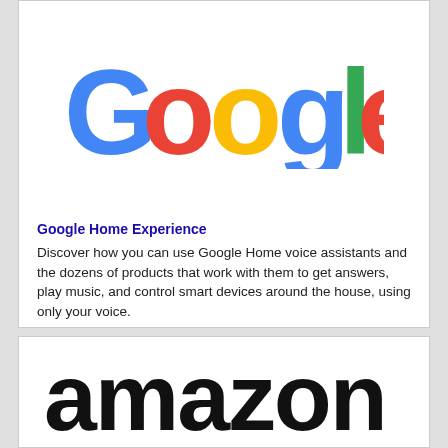[Figure (logo): Google logo with colorful letters: blue G, red o, yellow o, blue g, green l, red e]
Google Home Experience
Discover how you can use Google Home voice assistants and the dozens of products that work with them to get answers, play music, and control smart devices around the house, using only your voice.
[Figure (logo): Amazon logo in bold black lowercase letters: amazon]